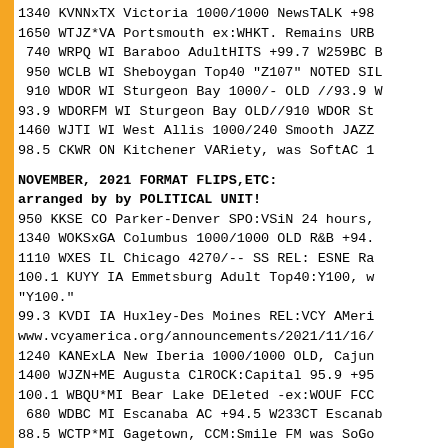1340 KVNNxTX Victoria 1000/1000 NewsTALK +98
1650 WTJZ*VA Portsmouth ex:WHKT. Remains URB
740 WRPQ WI Baraboo AdultHITS +99.7 W259BC B
950 WCLB WI Sheboygan Top40 "Z107" NOTED SIL
910 WDOR WI Sturgeon Bay 1000/- OLD //93.9 W
93.9 WDORFM WI Sturgeon Bay OLD//910 WDOR St
1460 WJTI WI West Allis 1000/240 Smooth JAZZ
98.5 CKWR ON Kitchener VARiety, was SoftAC 1
NOVEMBER, 2021 FORMAT FLIPS,ETC:
arranged by by POLITICAL UNIT!
950 KKSE CO Parker-Denver SPO:VSiN 24 hours,
1340 WOKSxGA Columbus 1000/1000 OLD R&B +94.
1110 WXES IL Chicago 4270/-- SS REL: ESNE Ra
100.1 KUYY IA Emmetsburg Adult Top40:Y100, w
"Y100."
99.3 KVDI IA Huxley-Des Moines REL:VCY AMeri
www.vcyamerica.org/announcements/2021/11/16/
1240 KANExLA New Iberia 1000/1000 OLD, Cajun
1400 WJZN+ME Augusta ClROCK:Capital 95.9 +95
100.1 WBQU*MI Bear Lake DEleted -ex:WOUF FCC
680 WDBC MI Escanaba AC +94.5 W233CT Escanab
88.5 WCTP*MI Gagetown, CCM:Smile FM was SoGo
850 WGVS*MI Muskegon 1000/1000 OLD:Real AND